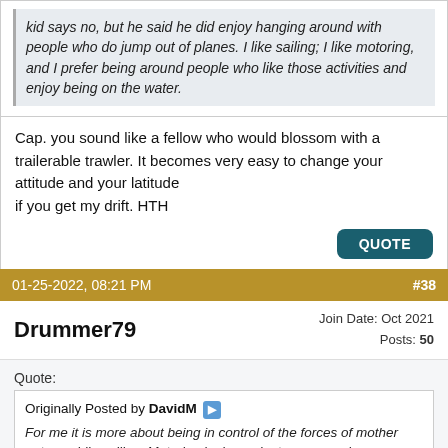kid says no, but he said he did enjoy hanging around with people who do jump out of planes. I like sailing; I like motoring, and I prefer being around people who like those activities and enjoy being on the water.
Cap. you sound like a fellow who would blossom with a trailerable trawler. It becomes very easy to change your attitude and your latitude
if you get my drift. HTH
QUOTE
01-25-2022, 08:21 PM   #38
Drummer79   Join Date: Oct 2021   Posts: 50
Quote:
Originally Posted by DavidM
For me it is more about being in control of the forces of mother nature while sailing. Motoring is dependent on a complex mechanical device. Sailing is harnessing the forces of w...
It ca...
Asetek  Want better performance?  Open